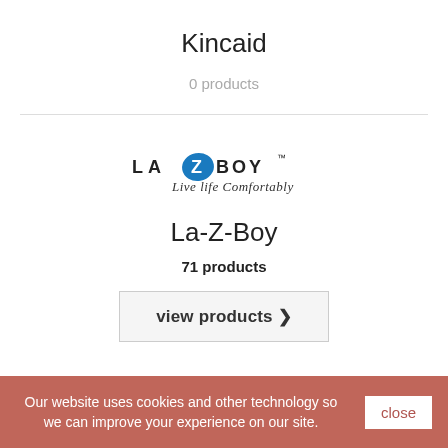Kincaid
0 products
[Figure (logo): La-Z-Boy logo with tagline 'Live life Comfortably']
La-Z-Boy
71 products
view products ›
Our website uses cookies and other technology so we can improve your experience on our site.